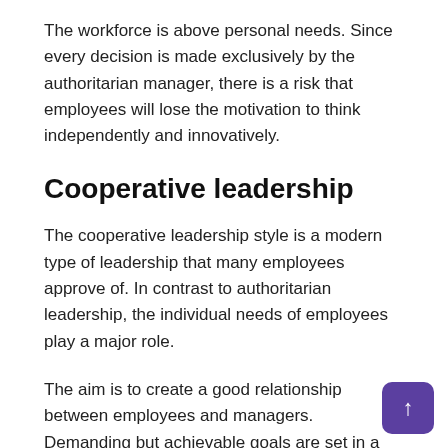The workforce is above personal needs. Since every decision is made exclusively by the authoritarian manager, there is a risk that employees will lose the motivation to think independently and innovatively.
Cooperative leadership
The cooperative leadership style is a modern type of leadership that many employees approve of. In contrast to authoritarian leadership, the individual needs of employees play a major role.
The aim is to create a good relationship between employees and managers. Demanding but achievable goals are set in a personal exchange. The provision of services is on the same level as employee orientation.